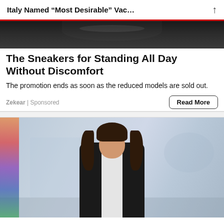Italy Named “Most Desirable” Vac…
[Figure (photo): Top portion of a dark sneaker/shoe against dark background, partially cropped]
The Sneakers for Standing All Day Without Discomfort
The promotion ends as soon as the reduced models are sold out.
Zekear | Sponsored
[Figure (photo): A smiling brunette woman in a black and white blazer standing in a blurred office/building lobby. Colorful rainbow strip on the left side of the image.]